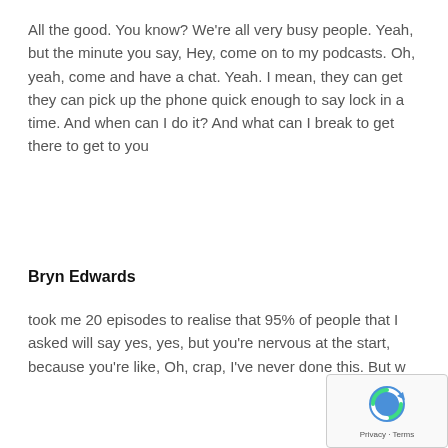All the good. You know? We're all very busy people. Yeah, but the minute you say, Hey, come on to my podcasts. Oh, yeah, come and have a chat. Yeah. I mean, they can get they can pick up the phone quick enough to say lock in a time. And when can I do it? And what can I break to get there to get to you
Bryn Edwards
took me 20 episodes to realise that 95% of people that I asked will say yes, yes, but you're nervous at the start, because you're like, Oh, crap, I've never done this. But w